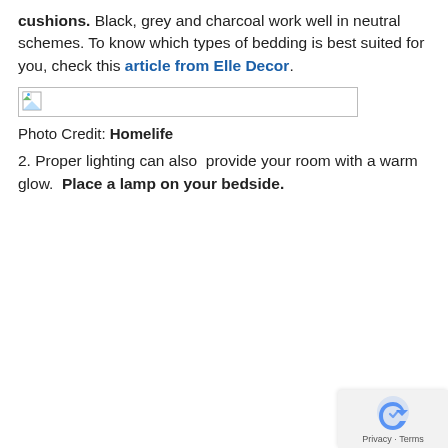cushions. Black, grey and charcoal work well in neutral schemes. To know which types of bedding is best suited for you, check this article from Elle Decor.
[Figure (photo): Placeholder image (broken/unloaded image icon) with a thin border rectangle]
Photo Credit: Homelife
2. Proper lighting can also provide your room with a warm glow. Place a lamp on your bedside.